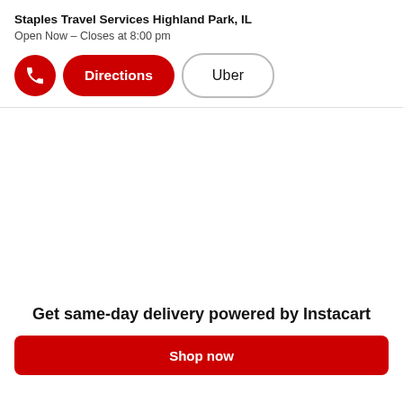Staples Travel Services Highland Park, IL
Open Now – Closes at 8:00 pm
[Figure (screenshot): UI with phone button (red circle with phone icon), Directions button (red pill), Uber button (white pill with border)]
Get same-day delivery powered by Instacart
[Figure (screenshot): Partial red Shop now button at bottom]